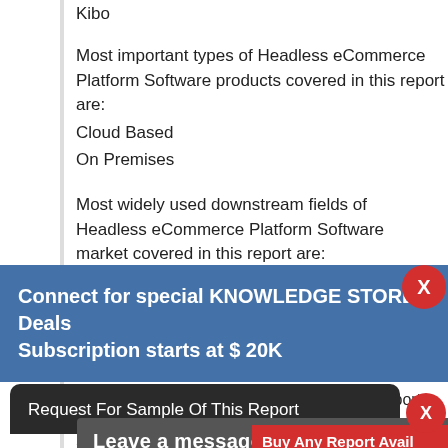Kibo
Most important types of Headless eCommerce Platform Software products covered in this report are:
Cloud Based
On Premises
Cloud Based
On Premises
Most widely used downstream fields of Headless eCommerce Platform Software market covered in this report are:
Connect for special KNOWLEDGE STORE Deals
Subscription starts at $ 20K
Major Regions or countries covered in this report:
North America
Europe
China
North America
Europe
China
Request For Sample Of This Report
Buy Any Report Avail 20% ... Code:
Leave a message
South A...
India